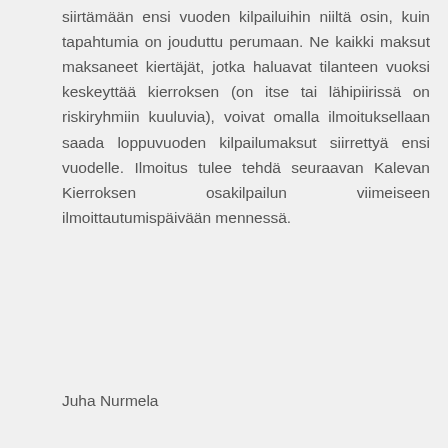siirtämään ensi vuoden kilpailuihin niiltä osin, kuin tapahtumia on jouduttu perumaan. Ne kaikki maksut maksaneet kiertäjät, jotka haluavat tilanteen vuoksi keskeyttää kierroksen (on itse tai lähipiirissä on riskiryhmiin kuuluvia), voivat omalla ilmoituksellaan saada loppuvuoden kilpailumaksut siirrettyä ensi vuodelle. Ilmoitus tulee tehdä seuraavan Kalevan Kierroksen osakilpailun viimeiseen ilmoittautumispäivään mennessä.
Juha Nurmela